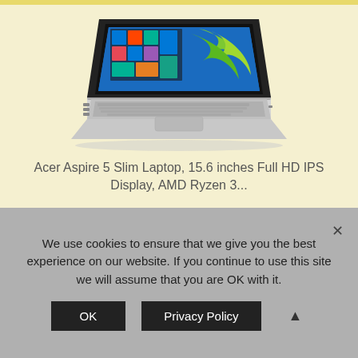[Figure (photo): Acer Aspire 5 slim laptop open at an angle showing Windows 10 desktop with green splash wallpaper, silver chassis, on a light yellow background]
Acer Aspire 5 Slim Laptop, 15.6 inches Full HD IPS Display, AMD Ryzen 3...
We use cookies to ensure that we give you the best experience on our website. If you continue to use this site we will assume that you are OK with it.